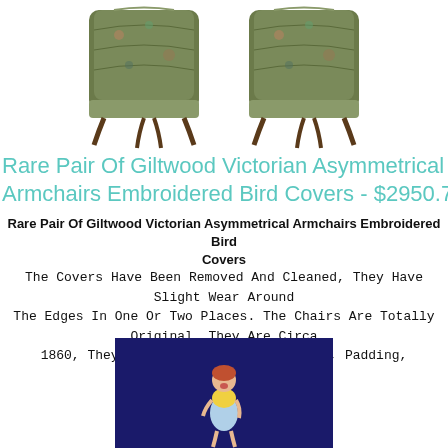[Figure (photo): Two Victorian armchairs with floral/embroidered bird covers, dark wooden legs, viewed from the front]
Rare Pair Of Giltwood Victorian Asymmetrical Armchairs Embroidered Bird Covers - $2950.75
Rare Pair Of Giltwood Victorian Asymmetrical Armchairs Embroidered Bird Covers
The Covers Have Been Removed And Cleaned, They Have Slight Wear Around The Edges In One Or Two Places. The Chairs Are Totally Original, They Are Circa 1860, They Have The Period Upholstery, Padding, Everything.
[Figure (photo): Ceramic or porcelain figurine of a young girl running, wearing a yellow top and blue skirt, against a dark blue background]